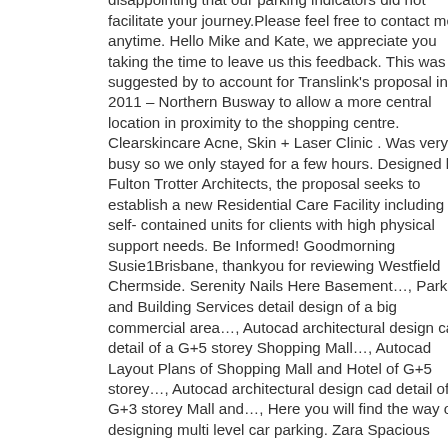disappointing that our parking indicators did not facilitate your journey. Please feel free to contact me at anytime. Hello Mike and Kate, we appreciate you taking the time to leave us this feedback. This was suggested by to account for Translink's proposal in 2011 – Northern Busway to allow a more central location in proximity to the shopping centre. Clearskincare Acne, Skin + Laser Clinic . Was very busy so we only stayed for a few hours. Designed by Fulton Trotter Architects, the proposal seeks to establish a new Residential Care Facility including 15 self-contained units for clients with high physical support needs. Be Informed! Goodmorning Susie1Brisbane, thankyou for reviewing Westfield Chermside. Serenity Nails Here Basement…, Parking and Building Services detail design of a big commercial area…, Autocad architectural design cad detail of a G+5 storey Shopping Mall…, Autocad Layout Plans of Shopping Mall and Hotel of G+5 storey…, Autocad architectural design cad detail of a G+3 storey Mall and…, Here you will find the way of designing multi level car parking. Zara Spacious...